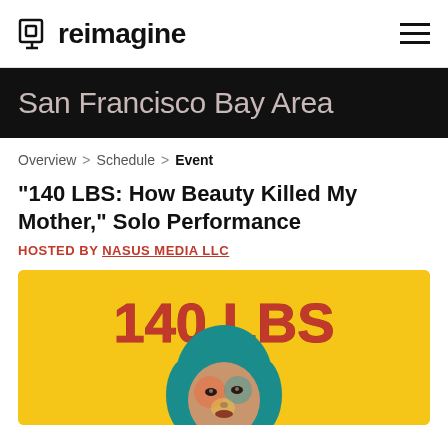reimagine
San Francisco Bay Area
Overview > Schedule > Event
"140 LBS: How Beauty Killed My Mother," Solo Performance
HOSTED BY NASUS MEDIA LLC
[Figure (illustration): Yellow background event poster showing '140 LBS' text in red letters at top, with an illustrated portrait of a woman with teal/blue hair, brown skin, and colorful facial features below]